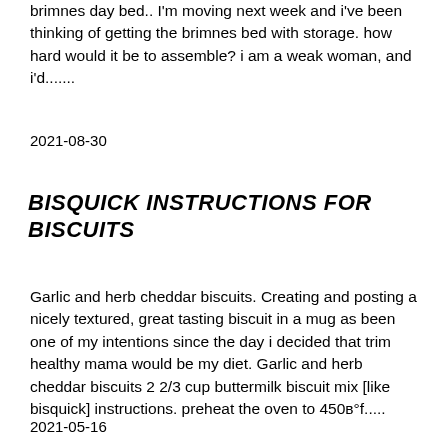brimnes day bed.. I'm moving next week and i've been thinking of getting the brimnes bed with storage. how hard would it be to assemble? i am a weak woman, and i'd.......
2021-08-30
BISQUICK INSTRUCTIONS FOR BISCUITS
Garlic and herb cheddar biscuits. Creating and posting a nicely textured, great tasting biscuit in a mug as been one of my intentions since the day i decided that trim healthy mama would be my diet. Garlic and herb cheddar biscuits 2 2/3 cup buttermilk biscuit mix [like bisquick] instructions. preheat the oven to 450в°f.....
2021-05-16